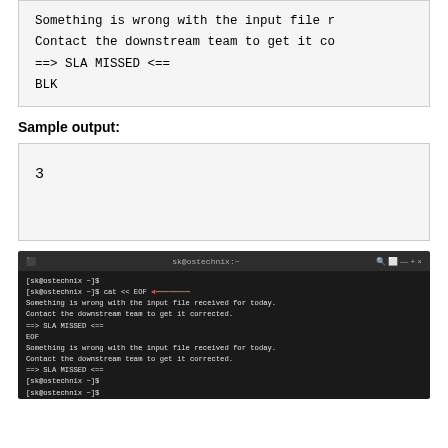Something is wrong with the input file r
Contact the downstream team to get it co
==> SLA MISSED <==
BLK
Sample output:
3
[Figure (screenshot): Terminal window showing bash session with cat << EOF and wc -l << BLK heredoc commands, with red arrows pointing to EOF and BLK markers. Output shows 'Something is wrong with the input file received for today. Contact the downstream team to get it corrected. ==> SLA MISSED <==' and BLK result of 3.]